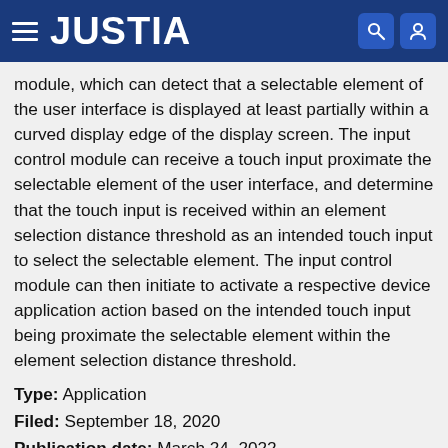JUSTIA
module, which can detect that a selectable element of the user interface is displayed at least partially within a curved display edge of the display screen. The input control module can receive a touch input proximate the selectable element of the user interface, and determine that the touch input is received within an element selection distance threshold as an intended touch input to select the selectable element. The input control module can then initiate to activate a respective device application action based on the intended touch input being proximate the selectable element within the element selection distance threshold.
Type: Application
Filed: September 18, 2020
Publication date: March 24, 2022
Applicant: Motorola Mobility LLC
Inventors: Fred Allison Bower, III, Amit Kumar Agrawal